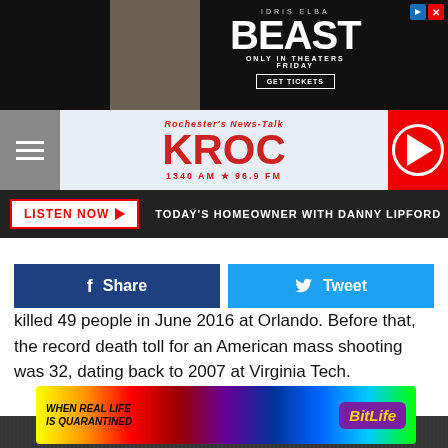[Figure (photo): Beast movie advertisement banner with Idris Elba, text reading IDRIS ELBA BEAST ONLY IN THEATERS FRIDAY GET TICKETS]
[Figure (logo): Rochester's News-Talk KROC 1340 AM 96.9 FM radio station logo with red play button]
LISTEN NOW ▶  TODAY'S HOMEOWNER WITH DANNY LIPFORD
[Figure (screenshot): Facebook Share and Twitter Tweet buttons]
killed 49 people in June 2016 at Orlando. Before that, the record death toll for an American mass shooting was 32, dating back to 2007 at Virginia Tech.
Rock's Worst Concert Accidents and Tragedies
[Figure (photo): Black and white photo of a large concert crowd]
[Figure (photo): BitLife advertisement with rainbow colors, text: WHEN REAL LIFE IS QUARANTINED BitLife]